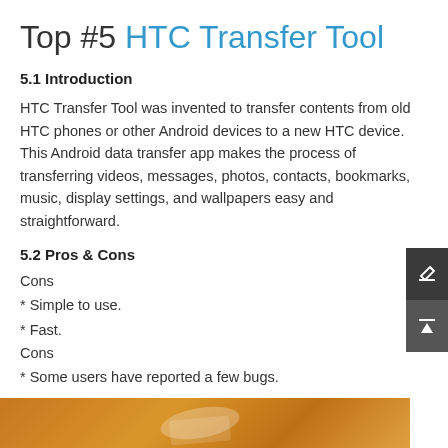Top #5 HTC Transfer Tool
5.1 Introduction
HTC Transfer Tool was invented to transfer contents from old HTC phones or other Android devices to a new HTC device. This Android data transfer app makes the process of transferring videos, messages, photos, contacts, bookmarks, music, display settings, and wallpapers easy and straightforward.
5.2 Pros & Cons
Cons
* Simple to use.
* Fast.
Cons
* Some users have reported a few bugs.
[Figure (photo): Bottom strip showing a partial photo with orange/brown tones, appears to be a device or hardware image]